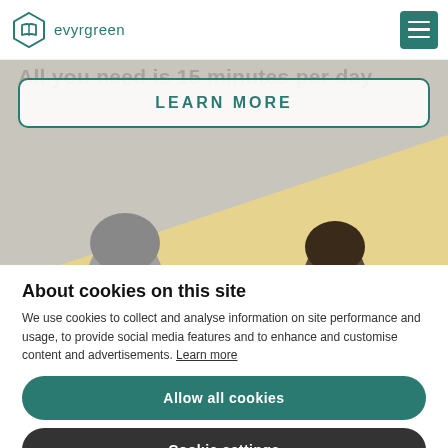[Figure (logo): Evyrgreen logo with open book hexagon icon and text 'evyrgreen' in teal]
[Figure (photo): Hero banner with partially visible background text 'All you need is 15 minutes per day', a 'LEARN MORE' button with teal border, yellow geometric shape, and tops of two people's heads visible at the bottom]
About cookies on this site
We use cookies to collect and analyse information on site performance and usage, to provide social media features and to enhance and customise content and advertisements. Learn more
Allow all cookies
Cookie settings